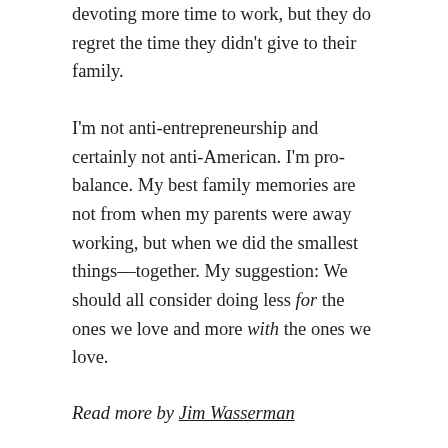devoting more time to work, but they do regret the time they didn't give to their family.
I'm not anti-entrepreneurship and certainly not anti-American. I'm pro-balance. My best family memories are not from when my parents were away working, but when we did the smallest things—together. My suggestion: We should all consider doing less for the ones we love and more with the ones we love.
Read more by Jim Wasserman
Browse the Blog
← Bucket List    Missing Takeoff →